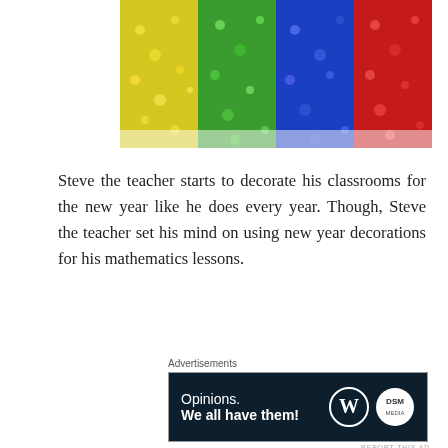[Figure (photo): Colorful decorative gems/beads arranged in rainbow colors: yellow, green, blue, and red on a white background, viewed from above.]
Steve the teacher starts to decorate his classrooms for the new year like he does every year. Though, Steve the teacher set his mind on using new year decorations for his mathematics lessons.
[Figure (other): Advertisement banner with dark navy background reading 'Opinions. We all have them!' with WordPress and DSM logos on the right.]
New Year Decorations Game (N.Y.D.G.)
Steve's creation N.Y.D.G. is a multiplayer game. This is why the game is played in knockout stages/rounds. The winner of the game wins the new year decorations and